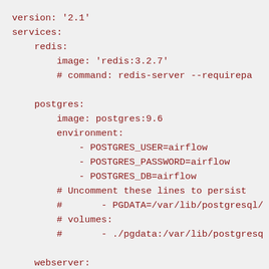version: '2.1'
services:
    redis:
        image: 'redis:3.2.7'
        # command: redis-server --requirepa

    postgres:
        image: postgres:9.6
        environment:
            - POSTGRES_USER=airflow
            - POSTGRES_PASSWORD=airflow
            - POSTGRES_DB=airflow
        # Uncomment these lines to persist
        #       - PGDATA=/var/lib/postgresql/
        # volumes:
        #       - ./pgdata:/var/lib/postgresq

    webserver:
        image: puckel/docker-airflow:latest